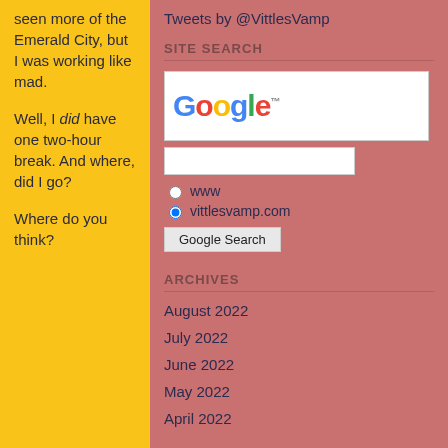seen more of the Emerald City, but I was working like mad.
Well, I did have one two-hour break. And where, did I go?
Where do you think?
Tweets by @VittlesVamp
SITE SEARCH
[Figure (screenshot): Google search widget with Google logo, search input field, radio buttons for www and vittlesvamp.com, and a Google Search button]
ARCHIVES
August 2022
July 2022
June 2022
May 2022
April 2022